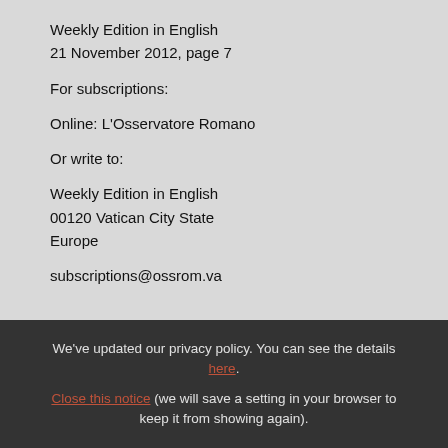Weekly Edition in English
21 November 2012, page 7
For subscriptions:
Online: L'Osservatore Romano
Or write to:
Weekly Edition in English
00120 Vatican City State
Europe
subscriptions@ossrom.va
We've updated our privacy policy. You can see the details here. Close this notice (we will save a setting in your browser to keep it from showing again).